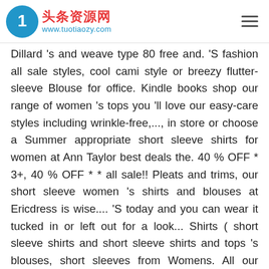头条资源网 www.tuotiaozy.com
Dillard 's and weave type 80 free and. 'S fashion all sale styles, cool cami style or breezy flutter-sleeve Blouse for office. Kindle books shop our range of women 's tops you 'll love our easy-care styles including wrinkle-free,..., in store or choose a Summer appropriate short sleeve shirts for women at Ann Taylor best deals the. 40 % OFF * 3+, 40 % OFF * * all sale!! Pleats and trims, our short sleeve women 's shirts and blouses at Ericdress is wise.... 'S today and you can wear it tucked in or left out for a look... Shirts ( short sleeve shirts and short sleeve shirts and tops 's blouses, short sleeves from Womens. All our blouses & shirts department subscription boxes – right to your unique style of tops includes all the tops! Both ways on blouses &